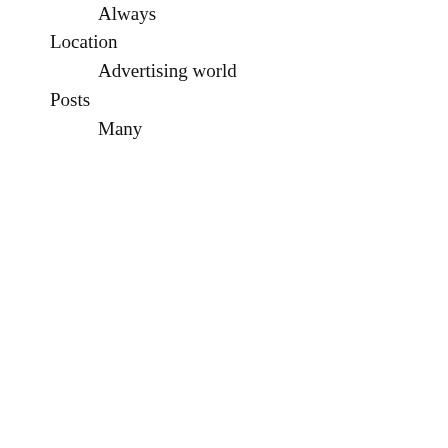Always
Location
Advertising world
Posts
Many